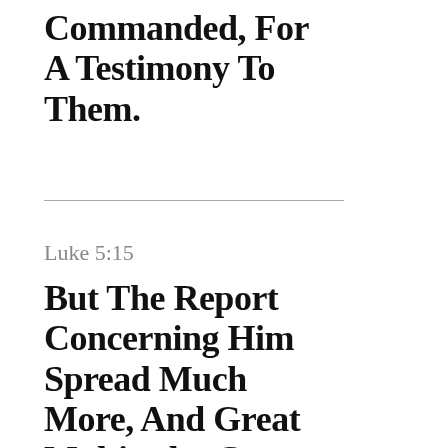Commanded, For A Testimony To Them.
Luke 5:15
But The Report Concerning Him Spread Much More, And Great Multitudes Came Together To Hear, And To Be Healed By Him Of Their